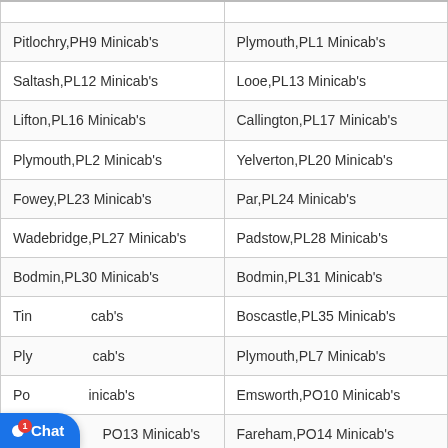| Location (Col 1) | Location (Col 2) |
| --- | --- |
| Pitlochry,PH9 Minicab's | Plymouth,PL1 Minicab's |
| Saltash,PL12 Minicab's | Looe,PL13 Minicab's |
| Lifton,PL16 Minicab's | Callington,PL17 Minicab's |
| Plymouth,PL2 Minicab's | Yelverton,PL20 Minicab's |
| Fowey,PL23 Minicab's | Par,PL24 Minicab's |
| Wadebridge,PL27 Minicab's | Padstow,PL28 Minicab's |
| Bodmin,PL30 Minicab's | Bodmin,PL31 Minicab's |
| Tin[tagel,PL34] Minicab's | Boscastle,PL35 Minicab's |
| Plymouth,[PL6] Minicab's | Plymouth,PL7 Minicab's |
| Portsmouth,[PO9] Minicab's | Emsworth,PO10 Minicab's |
| Lee-on-the-Solent,PO13 Minicab's | Fareham,PO14 Minicab's |
| Southampt[on,PO17] Minicab's | Chichester,PO18 Minicab's |
Hello there! Good Day! We have Hidden offers on most of our routes, interested to know what lies ahead?